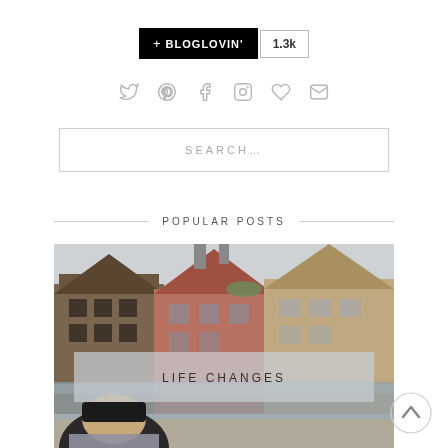[Figure (logo): Bloglovin button with black background showing '+ BLOGLOVIN'' text, and a follower count badge showing '1.3k']
[Figure (infographic): Row of social media icons: Twitter bird, Pinterest P, Facebook f, Instagram camera, heart/Bloglovin, envelope/email — all in light grey]
SEARCH...
POPULAR POSTS
[Figure (photo): Photograph of a European canal town (Bruges-style) with medieval timber and brick buildings, a canal, and a person with a dark beanie hat in the foreground. Overlaid with a semi-transparent box reading 'LIFE CHANGES'.]